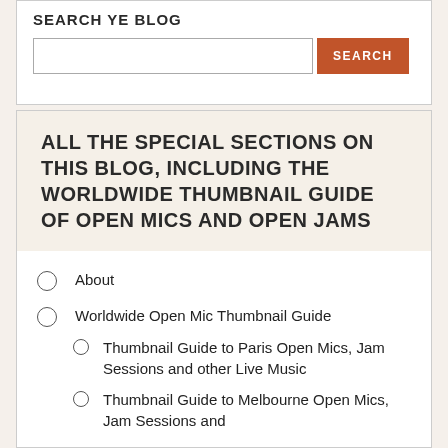SEARCH YE BLOG
Search input and button
ALL THE SPECIAL SECTIONS ON THIS BLOG, INCLUDING THE WORLDWIDE THUMBNAIL GUIDE OF OPEN MICS AND OPEN JAMS
About
Worldwide Open Mic Thumbnail Guide
Thumbnail Guide to Paris Open Mics, Jam Sessions and other Live Music
Thumbnail Guide to Melbourne Open Mics, Jam Sessions and